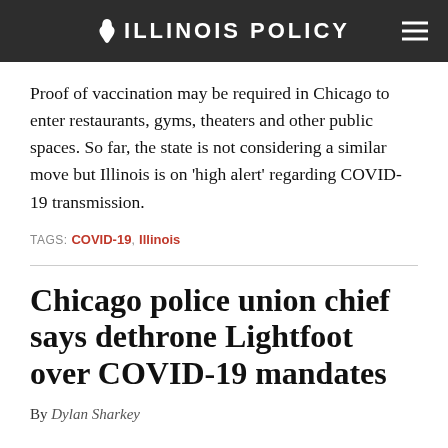ILLINOIS POLICY
Proof of vaccination may be required in Chicago to enter restaurants, gyms, theaters and other public spaces. So far, the state is not considering a similar move but Illinois is on 'high alert' regarding COVID-19 transmission.
TAGS: COVID-19, Illinois
Chicago police union chief says dethrone Lightfoot over COVID-19 mandates
By Dylan Sharkey